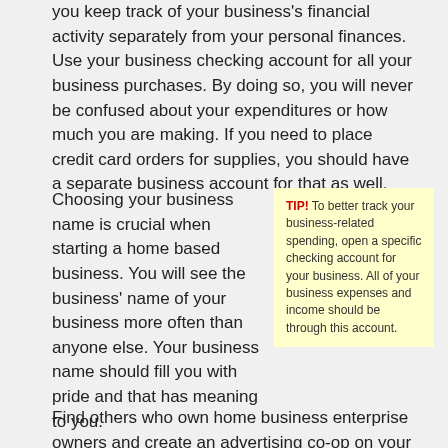you keep track of your business's financial activity separately from your personal finances. Use your business checking account for all your business purchases. By doing so, you will never be confused about your expenditures or how much you are making. If you need to place credit card orders for supplies, you should have a separate business account for that as well.
Choosing your business name is crucial when starting a home based business. You will see the business' name of your business more often than anyone else. Your business name should fill you with pride and that has meaning to you.
TIP! To better track your business-related spending, open a specific checking account for your business. All of your business expenses and income should be through this account.
Find others who own home business enterprise owners and create an advertising co-op on your